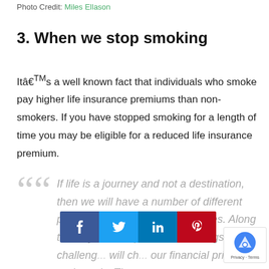Photo Credit: Miles Ellason
3. When we stop smoking
Itâ€™s a well known fact that individuals who smoke pay higher life insurance premiums than non-smokers. If you have stopped smoking for a length of time you may be eligible for a reduced life insurance premium.
If life is a journey and not a destination, then we will have a number of different paths to travel throughout our lives. Along the way, we'll experience blessings, challeng... will ch... our financial priorities and needs. There